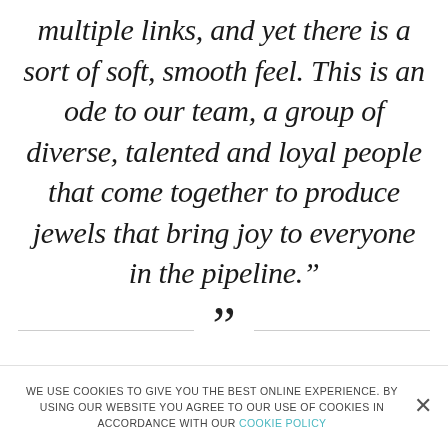multiple links, and yet there is a sort of soft, smooth feel. This is an ode to our team, a group of diverse, talented and loyal people that come together to produce jewels that bring joy to everyone in the pipeline."
””
[Figure (photo): A narrow horizontal photo strip showing a dark landscape or portrait scene at the bottom of the quote section.]
WE USE COOKIES TO GIVE YOU THE BEST ONLINE EXPERIENCE. BY USING OUR WEBSITE YOU AGREE TO OUR USE OF COOKIES IN ACCORDANCE WITH OUR COOKIE POLICY